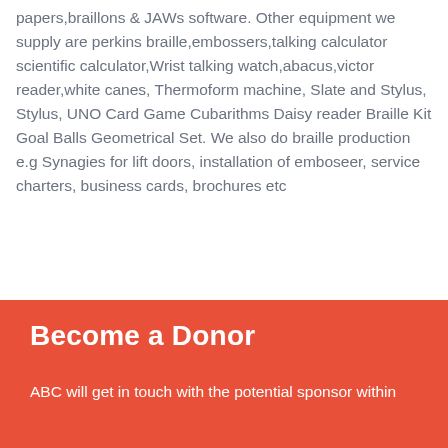papers,braillons & JAWs software. Other equipment we supply are perkins braille,embossers,talking calculator scientific calculator,Wrist talking watch,abacus,victor reader,white canes, Thermoform machine, Slate and Stylus, Stylus, UNO Card Game Cubarithms Daisy reader Braille Kit Goal Balls Geometrical Set. We also do braille production e.g Synagies for lift doors, installation of emboseer, service charters, business cards, brochures etc
Become a Donor
ABC will get in touch with the potential sponsor within